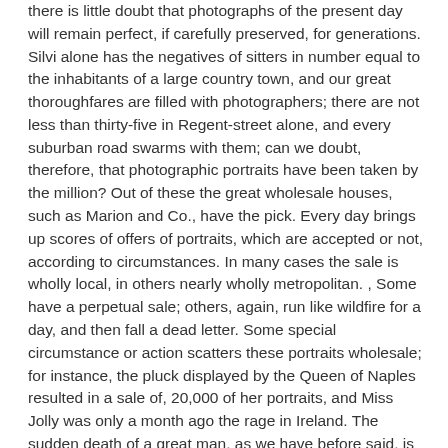there is little doubt that photographs of the present day will remain perfect, if carefully preserved, for generations. Silvi alone has the negatives of sitters in number equal to the inhabitants of a large country town, and our great thoroughfares are filled with photographers; there are not less than thirty-five in Regent-street alone, and every suburban road swarms with them; can we doubt, therefore, that photographic portraits have been taken by the million? Out of these the great wholesale houses, such as Marion and Co., have the pick. Every day brings up scores of offers of portraits, which are accepted or not, according to circumstances. In many cases the sale is wholly local, in others nearly wholly metropolitan. , Some have a perpetual sale; others, again, run like wildfire for a day, and then fall a dead letter. Some special circumstance or action scatters these portraits wholesale; for instance, the pluck displayed by the Queen of Naples resulted in a sale of, 20,000 of her portraits, and Miss Jolly was only a month ago the rage in Ireland. The sudden death of a great man, as we have before said, is immediately made known to the wholesale carte de visite houses by an influx of orders by telegraph. There was a report the other day that Lord Palmerston was